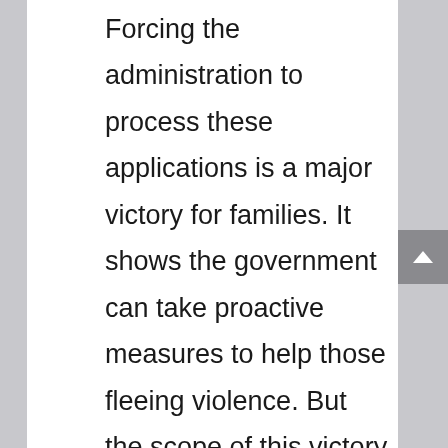Forcing the administration to process these applications is a major victory for families. It shows the government can take proactive measures to help those fleeing violence. But the scope of this victory is limited as the CAM program will not be processing any new applications. There are still many Central American children living in fear, forced to find alternative methods to escape the violence in their home countries.